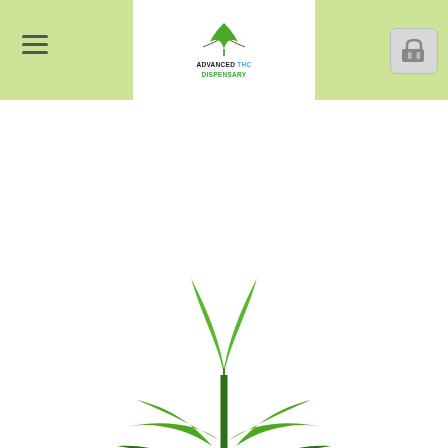ADVANCED THC DISPENSARY (navigation logo)
[Figure (logo): Advanced THC Dispensary logo: cannabis leaf graphic above the text 'ADVANCED THC DISPENSARY' where ADVANCED and DISPENSARY are in dark green/black and THC is in blue]
CALL OR TEXT : +1 (000) 000 - 0000
CART